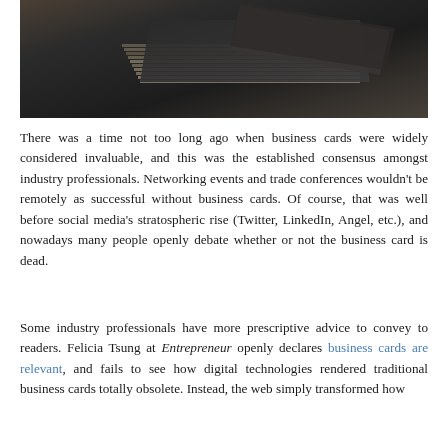[Figure (photo): Stack of dark business cards photographed from above on a dark grey background, showing layered edges and a folded or angled card on top.]
There was a time not too long ago when business cards were widely considered invaluable, and this was the established consensus amongst industry professionals. Networking events and trade conferences wouldn't be remotely as successful without business cards. Of course, that was well before social media's stratospheric rise (Twitter, LinkedIn, Angel, etc.), and nowadays many people openly debate whether or not the business card is dead.
Some industry professionals have more prescriptive advice to convey to readers. Felicia Tsung at Entrepreneur openly declares business cards are relevant, and fails to see how digital technologies rendered traditional business cards totally obsolete. Instead, the web simply transformed how